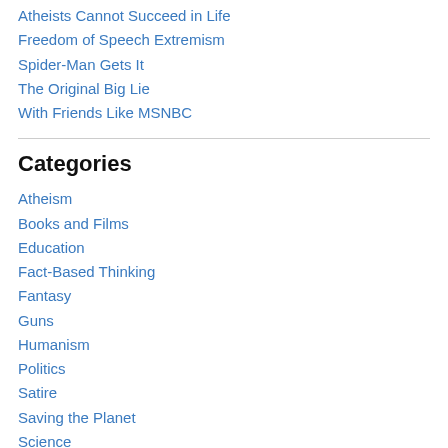Atheists Cannot Succeed in Life
Freedom of Speech Extremism
Spider-Man Gets It
The Original Big Lie
With Friends Like MSNBC
Categories
Atheism
Books and Films
Education
Fact-Based Thinking
Fantasy
Guns
Humanism
Politics
Satire
Saving the Planet
Science